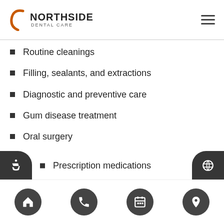[Figure (logo): Northside Dental Care logo with orange arc and company name]
Routine cleanings
Filling, sealants, and extractions
Diagnostic and preventive care
Gum disease treatment
Oral surgery
Crowns, bridges, and dentures
Employees can also use their FSA funds for other health care expenses, such as:
Prescription medications